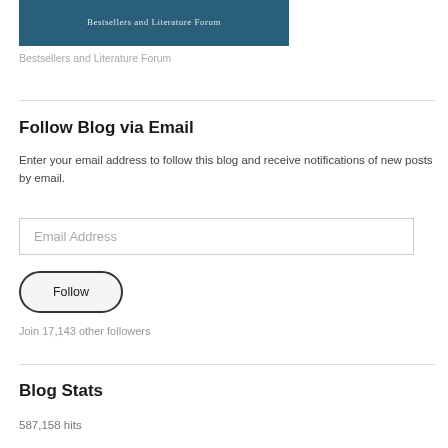[Figure (photo): Bestsellers and Literature Forum banner image with blue teal background and decorative text overlay]
Bestsellers and Literature Forum
Follow Blog via Email
Enter your email address to follow this blog and receive notifications of new posts by email.
Email Address
Follow
Join 17,143 other followers
Blog Stats
587,158 hits